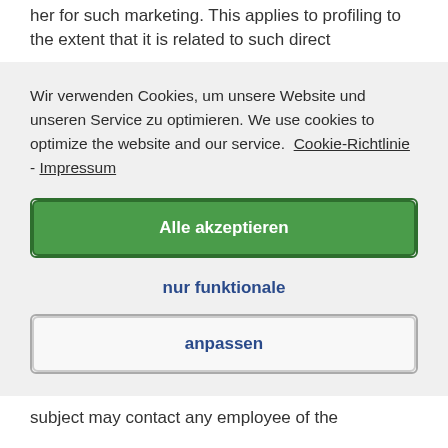her for such marketing. This applies to profiling to the extent that it is related to such direct
Wir verwenden Cookies, um unsere Website und unseren Service zu optimieren. We use cookies to optimize the website and our service. Cookie-Richtlinie - Impressum
Alle akzeptieren
nur funktionale
anpassen
subject may contact any employee of the